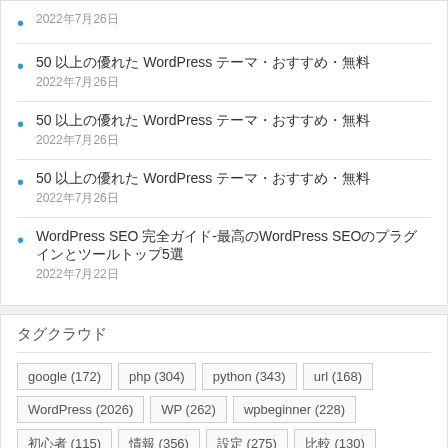2022年7月26日
50 以上の優れた WordPress テーマ・おすすめ・無料
2022年7月26日
50 以上の優れた WordPress テーマ・おすすめ・無料
2022年7月26日
50 以上の優れた WordPress テーマ・おすすめ・無料
2022年7月26日
WordPress SEO 完全ガイド-最高のWordPress SEOのプラグインとツールトップ5選
2022年7月22日
タグクラウド
google (172)
php (304)
python (343)
url (168)
WordPress (2026)
WP (262)
wpbeginner (228)
初心者 (115)
情報 (356)
設定 (275)
比較 (130)
方法 (133)